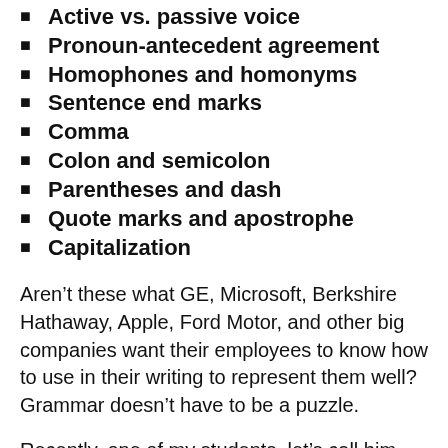Active vs. passive voice
Pronoun-antecedent agreement
Homophones and homonyms
Sentence end marks
Comma
Colon and semicolon
Parentheses and dash
Quote marks and apostrophe
Capitalization
Aren't these what GE, Microsoft, Berkshire Hathaway, Apple, Ford Motor, and other big companies want their employees to know how to use in their writing to represent them well?  Grammar doesn't have to be a puzzle.
Recently, one of my students, let's call him Jim,  kept telling me that he didn't know how to write a conclusion.  By the way, his name has been changed